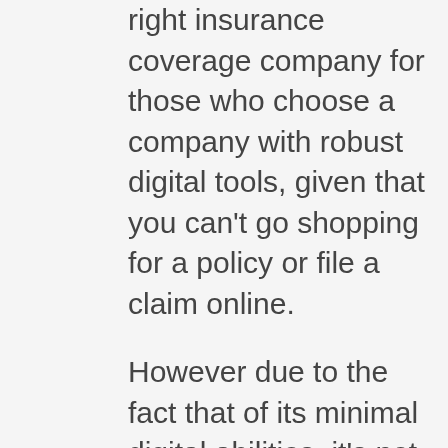right insurance coverage company for those who choose a company with robust digital tools, given that you can't go shopping for a policy or file a claim online.
However due to the fact that of its minimal digital abilities, it's not best for everyone. How long has Auto-Owners been in organization? Auto-Owners was founded in 1916 and has actually been serving customers around the nation for more than 100 years. What coverages does Auto-Owners Insurance coverage offer? Auto-Owners Insurance coverage provides almost any sort of insurance coverage you could need